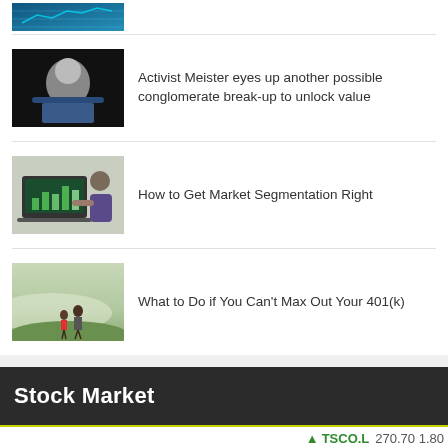[Figure (photo): Partial thumbnail of a blue financial chart/data display, cropped at top]
[Figure (photo): Man in suit speaking or presenting on a dark background]
Activist Meister eyes up another possible conglomerate break-up to unlock value
[Figure (photo): Person using laptop showing green bar charts, another person pointing at screen]
How to Get Market Segmentation Right
[Figure (photo): Two people walking in a misty green field]
What to Do if You Can't Max Out Your 401(k)
Stock Market
TSCO.L 270.70 1.80